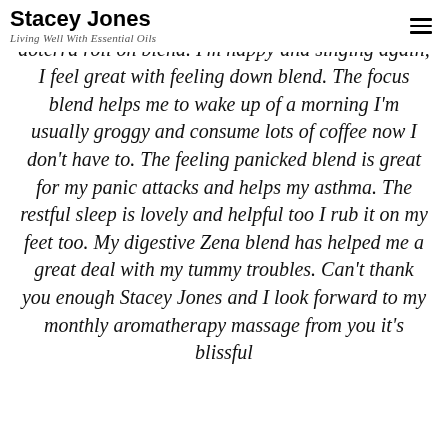Stacey Jones — Living Well With Essential Oils
My anxiety is much better with the anxious feeling doterra roll on blend. I'm happy and singing again, I feel great with feeling down blend. The focus blend helps me to wake up of a morning I'm usually groggy and consume lots of coffee now I don't have to. The feeling panicked blend is great for my panic attacks and helps my asthma. The restful sleep is lovely and helpful too I rub it on my feet too. My digestive Zena blend has helped me a great deal with my tummy troubles. Can't thank you enough Stacey Jones and I look forward to my monthly aromatherapy massage from you it's blissful